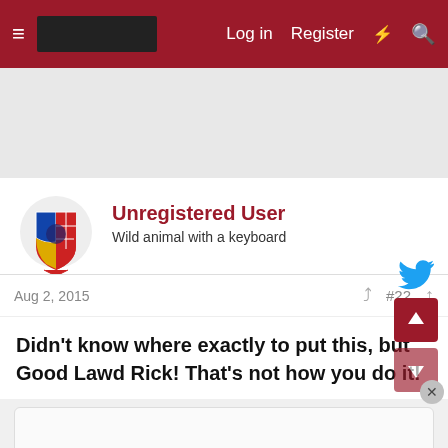Log in  Register
[Figure (screenshot): Forum user avatar with colorful flag/shield design]
Unregistered User
Wild animal with a keyboard
Aug 2, 2015    #22
Didn't know where exactly to put this, but Good Lawd Rick! That's not how you do it!